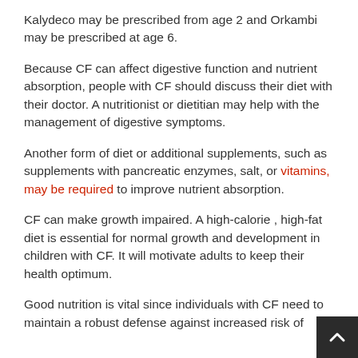Kalydeco may be prescribed from age 2 and Orkambi may be prescribed at age 6.
Because CF can affect digestive function and nutrient absorption, people with CF should discuss their diet with their doctor. A nutritionist or dietitian may help with the management of digestive symptoms.
Another form of diet or additional supplements, such as supplements with pancreatic enzymes, salt, or vitamins, may be required to improve nutrient absorption.
CF can make growth impaired. A high-calorie , high-fat diet is essential for normal growth and development in children with CF. It will motivate adults to keep their health optimum.
Good nutrition is vital since individuals with CF need to maintain a robust defense against increased risk of